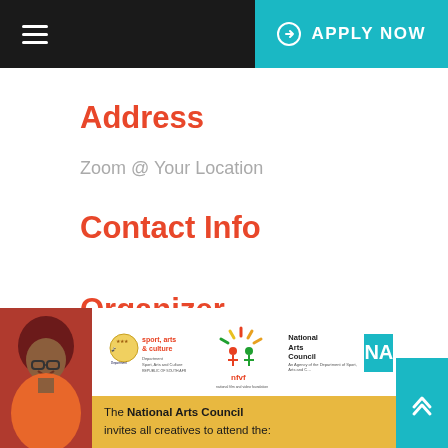≡  APPLY NOW
Address
Zoom @ Your Location
Contact Info
Organizer
National Arts Council
[Figure (infographic): Bottom banner with a smiling woman wearing a red head wrap, logos for Sport Arts & Culture department, NFVF (National Film and Video Foundation), and National Arts Council NA, plus a teal scroll-to-top button and yellow strip reading 'The National Arts Council invites all creatives to attend the:']